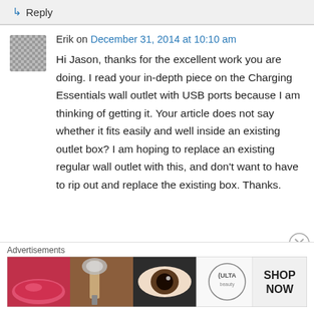↳ Reply
Erik on December 31, 2014 at 10:10 am
Hi Jason, thanks for the excellent work you are doing. I read your in-depth piece on the Charging Essentials wall outlet with USB ports because I am thinking of getting it. Your article does not say whether it fits easily and well inside an existing outlet box? I am hoping to replace an existing regular wall outlet with this, and don't want to have to rip out and replace the existing box. Thanks.
Advertisements
[Figure (photo): Ulta Beauty advertisement banner showing makeup/cosmetic imagery with SHOP NOW call to action]